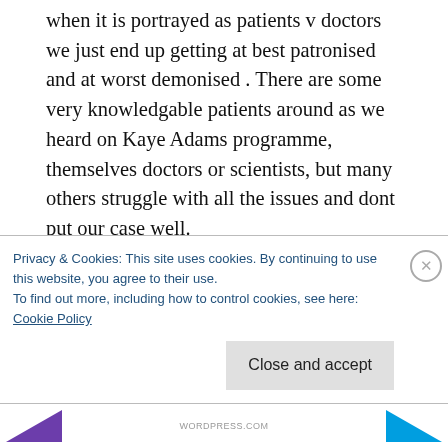when it is portrayed as patients v doctors we just end up getting at best patronised and at worst demonised . There are some very knowledgable patients around as we heard on Kaye Adams programme, themselves doctors or scientists, but many others struggle with all the issues and dont put our case well.
I am pleased to see that you would be keen to do research on the most severe patients as we are the most neglected and the ones dying.
Privacy & Cookies: This site uses cookies. By continuing to use this website, you agree to their use.
To find out more, including how to control cookies, see here:
Cookie Policy
Close and accept
WORDPRESS.COM